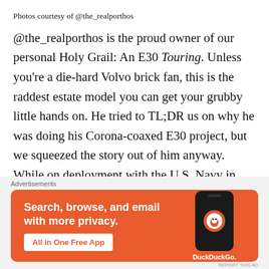Photos courtesy of @the_realporthos
@the_realporthos is the proud owner of our personal Holy Grail: An E30 Touring. Unless you're a die-hard Volvo brick fan, this is the raddest estate model you can get your grubby little hands on. He tried to TL;DR us on why he was doing his Corona-coaxed E30 project, but we squeezed the story out of him anyway. While on deployment with the U.S. Navy in 2015, he came across a white Touring about an hour outside of Orlando, Florida. Don't jealously dox him
[Figure (screenshot): DuckDuckGo advertisement banner with orange background showing 'Search, browse, and email with more privacy. All in One Free App' with a phone mockup and DuckDuckGo logo]